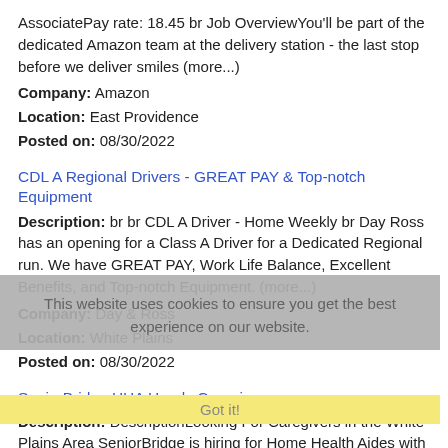AssociatePay rate: 18.45 br Job OverviewYou'll be part of the dedicated Amazon team at the delivery station - the last stop before we deliver smiles (more...)
Company: Amazon
Location: East Providence
Posted on: 08/30/2022
CDL A Regional Drivers - GREAT PAY & Top-notch Equipment
Description: br br CDL A Driver - Home Weekly br Day Ross has an opening for a Class A Driver for a Dedicated Regional run. We have GREAT PAY, Work Life Balance, Excellent Benefits, and Top-notch Equipment. (more...)
Company: Day & Ross
Location: White Plains
Posted on: 08/30/2022
SeniorBridge HHA Hourly Caregiver
Description: DescriptionLooking For Caregivers in the White Plains Area SeniorBridge is hiring for Home Health Aides with a strong desire to help families and
Company: Humana
Location: White Plains
Posted on: 08/30/2022